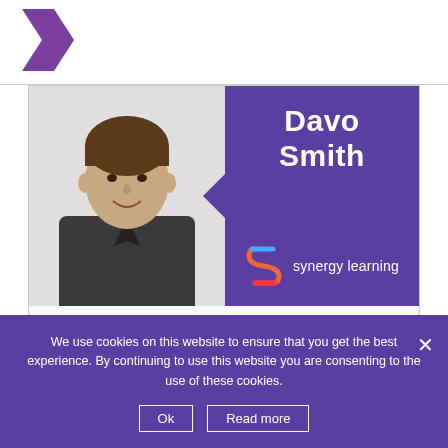[Figure (logo): Purple arrow/chevron logo for Synergy Learning website]
[Figure (photo): Portrait photo of Davo Smith, a man in a dark jacket, smiling, on a card with a purple panel showing his name and the Synergy Learning logo]
Moodle and Collabora
Get a richer Moodle e-learning experience with Collabora Online integrated. Synergy Learning will show
We use cookies on this website to ensure that you get the best experience. By continuing to use this website you are consenting to the use of these cookies.